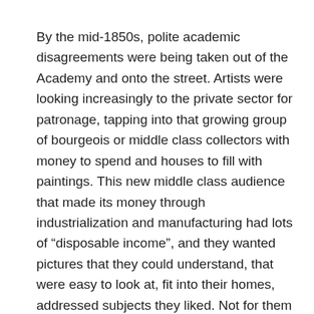By the mid-1850s, polite academic disagreements were being taken out of the Academy and onto the street. Artists were looking increasingly to the private sector for patronage, tapping into that growing group of bourgeois or middle class collectors with money to spend and houses to fill with paintings. This new middle class audience that made its money through industrialization and manufacturing had lots of “disposable income”, and they wanted pictures that they could understand, that were easy to look at, fit into their homes, addressed subjects they liked. Not for them the historical cycles of gods, saints and heroes with their complex intellectual associations and references; instead, they wanted landscapes, genre scenes, and still life. They were not less educated than earlier buyers, but educated with a different focus and